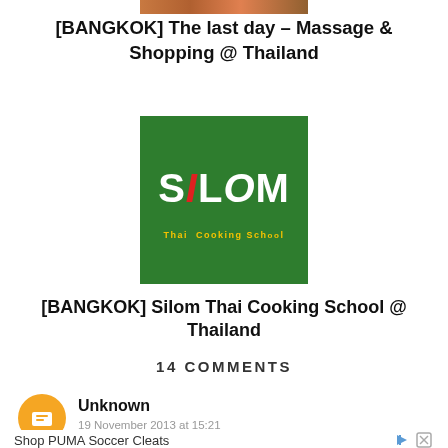[Figure (photo): Partial top image cropped at top of page, showing travel-related photo]
[BANGKOK] The last day – Massage & Shopping @ Thailand
[Figure (photo): Silom Thai Cooking School sign on green background with yellow text]
[BANGKOK] Silom Thai Cooking School @ Thailand
14 COMMENTS
Unknown
19 November 2013 at 15:21
[Figure (infographic): Advertisement: Shop PUMA Soccer Cleats with Shop Now button]